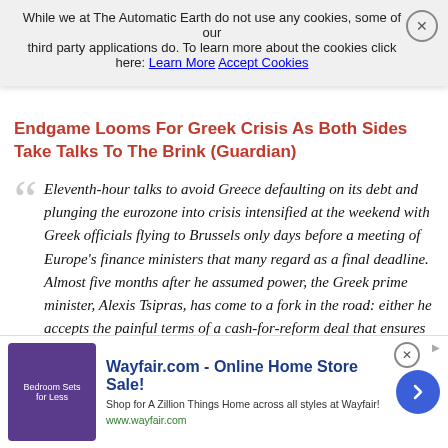While we at The Automatic Earth do not use any cookies, some of our third party applications do. To learn more about the cookies click here: Learn More  Accept Cookies
Endgame Looms For Greek Crisis As Both Sides Take Talks To The Brink (Guardian)
Eleventh-hour talks to avoid Greece defaulting on its debt and plunging the eurozone into crisis intensified at the weekend with Greek officials flying to Brussels only days before a meeting of Europe's finance ministers that many regard as a final deadline. Almost five months after he assumed power, the Greek prime minister, Alexis Tsipras, has come to a fork in the road: either he accepts the painful terms of a cash-for-reform deal that ensures Greece's place in the single currency or he decides to go it alone, faithful to the vision of his anti-austerity Syriza party. Either way, the endgame is upon him.
Thursday's meeting of eurozone finance ministers is viewed as
[Figure (screenshot): Wayfair.com advertisement banner: Online Home Store Sale! Shop for A Zillion Things Home across all styles at Wayfair! www.wayfair.com. Shows bedroom furniture image with purple background.]